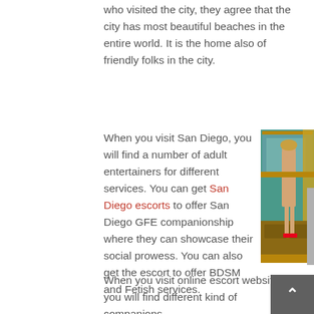who visited the city, they agree that the city has most beautiful beaches in the entire world. It is the home also of friendly folks in the city.
When you visit San Diego, you will find a number of adult entertainers for different services. You can get San Diego escorts to offer San Diego GFE companionship where they can showcase their social prowess. You can also get the escort to offer BDSM and Fetish services.
[Figure (photo): A woman posing in a luxury hotel room in front of a decorative mirror, wearing lingerie and red high heels.]
When you visit online escort website, you will find different kind of companions.